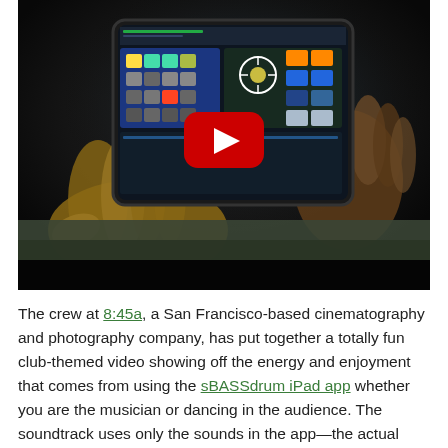[Figure (photo): A person holding an iPad tablet with music production / DJ app interface visible on screen. A red YouTube play button overlay is shown in the center of the image, indicating this is a video thumbnail. The scene appears to be in a dark, club-like environment.]
The crew at 8:45a, a San Francisco-based cinematography and photography company, has put together a totally fun club-themed video showing off the energy and enjoyment that comes from using the sBASSdrum iPad app whether you are the musician or dancing in the audience. The soundtrack uses only the sounds in the app—the actual song was resequenced using tracker software.